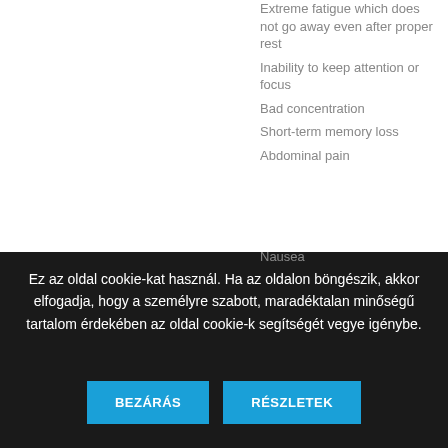Extreme fatigue which does not go away even after proper rest
Inability to keep attention or focus
Bad concentration
Short-term memory loss
Abdominal pain
Nausea
Ez az oldal cookie-kat használ. Ha az oldalon böngészik, akkor elfogadja, hogy a személyre szabott, maradéktalan minőségű tartalom érdekében az oldal cookie-k segítségét vegye igénybe.
BEZÁRÁS
RÉSZLETEK